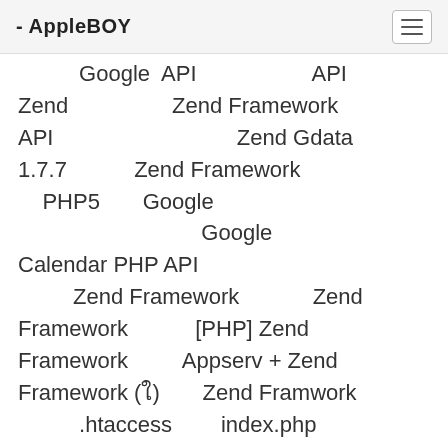- AppleBOY
Google  API                        API
Zend                 Zend Framework
API                                    Zend Gdata
1.7.7              Zend Framework
    PHP5       Google

                                        Google
Calendar PHP API
           Zend Framework                Zend
Framework             [PHP] Zend
Framework          Appserv + Zend
Framework (ใ)        Zend Framwork
           .htaccess         index.php
mark
Zend Framework (เกา}...